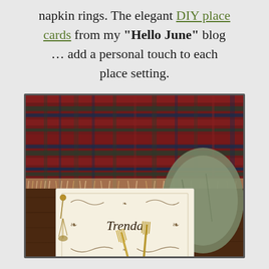napkin rings. The elegant DIY place cards from my "Hello June" blog … add a personal touch to each place setting.
[Figure (photo): A place setting photo showing a decorative place card with ornate scrollwork border reading 'Trenda', a gold tassel, forks, and a woven plaid tablecloth with fringe in the background, along with a folded napkin.]